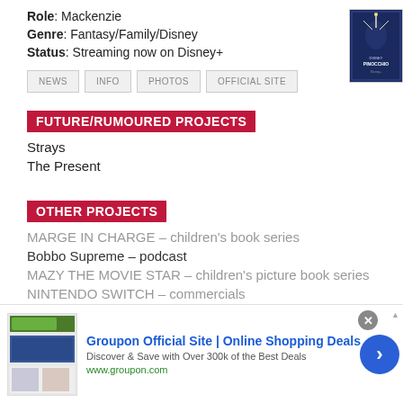Role: Mackenzie
Genre: Fantasy/Family/Disney
Status: Streaming now on Disney+
[Figure (photo): Movie poster with dark blue background and sparkle/wand imagery]
NEWS
INFO
PHOTOS
OFFICIAL SITE
FUTURE/RUMOURED PROJECTS
Strays
The Present
OTHER PROJECTS
MARGE IN CHARGE – children's book series
Bobbo Supreme – podcast
MAZY THE MOVIE STAR – children's picture book series
NINTENDO SWITCH – commercials
[Figure (screenshot): Groupon advertisement banner: Groupon Official Site | Online Shopping Deals. Discover & Save with Over 300k of the Best Deals. www.groupon.com]